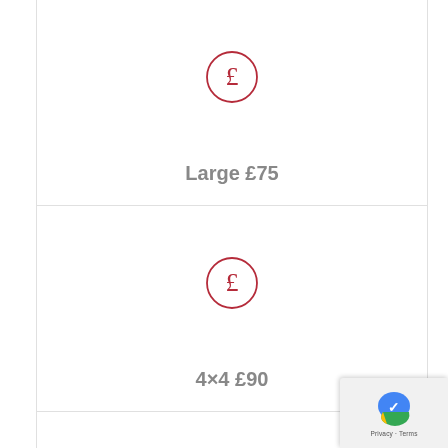[Figure (illustration): Pound sterling symbol (£) in a red circle]
Large £75
[Figure (illustration): Pound sterling symbol (£) in a red circle]
4×4 £90
[Figure (illustration): Pound sterling symbol (£) in a red circle (partially visible)]